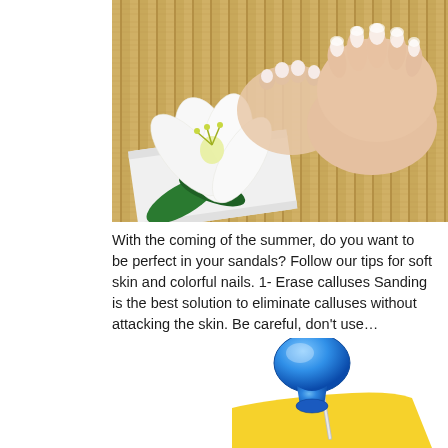[Figure (photo): Spa/pedicure scene: manicured hands and feet with painted nails resting on a bamboo mat, with white lily flowers and a white towel in the foreground.]
With the coming of the summer, do you want to be perfect in your sandals? Follow our tips for soft skin and colorful nails. 1- Erase calluses Sanding is the best solution to eliminate calluses without attacking the skin. Be careful, don't use...
[Figure (illustration): A blue thumbtack/pushpin stuck through a yellow sticky note or paper, viewed from slightly above and to the side.]